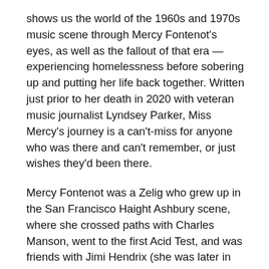shows us the world of the 1960s and 1970s music scene through Mercy Fontenot's eyes, as well as the fallout of that era — experiencing homelessness before sobering up and putting her life back together. Written just prior to her death in 2020 with veteran music journalist Lyndsey Parker, Miss Mercy's journey is a can't-miss for anyone who was there and can't remember, or just wishes they'd been there.
Mercy Fontenot was a Zelig who grew up in the San Francisco Haight Ashbury scene, where she crossed paths with Charles Manson, went to the first Acid Test, and was friends with Jimi Hendrix (she was later in his movie Rainbow Bridge). She predicted the Altamont disaster when reading The Rolling Stones' tarot cards at a party and left San Francisco for the climes of Los Angeles in 1967 when the Haight "lost its magic."